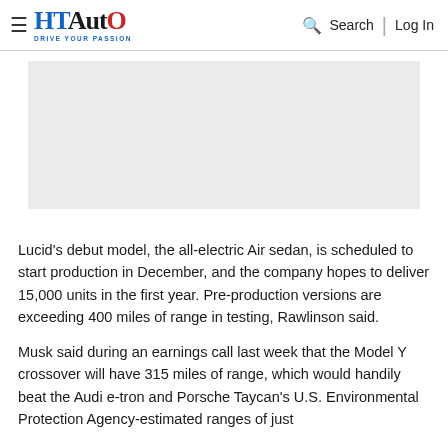HT Auto — Drive Your Passion | Search | Log In
[Figure (photo): Gray placeholder image area for an automotive article photo]
Lucid's debut model, the all-electric Air sedan, is scheduled to start production in December, and the company hopes to deliver 15,000 units in the first year. Pre-production versions are exceeding 400 miles of range in testing, Rawlinson said.
Musk said during an earnings call last week that the Model Y crossover will have 315 miles of range, which would handily beat the Audi e-tron and Porsche Taycan's U.S. Environmental Protection Agency-estimated ranges of just